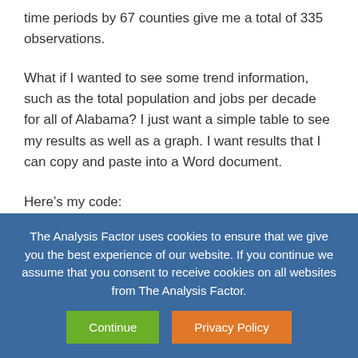time periods by 67 counties give me a total of 335 observations.
What if I wanted to see some trend information, such as the total population and jobs per decade for all of Alabama? I just want a simple table to see my results as well as a graph. I want results that I can copy and paste into a Word document.
Here’s my code:
The Analysis Factor uses cookies to ensure that we give you the best experience of our website. If you continue we assume that you consent to receive cookies on all websites from The Analysis Factor.
Continue
Privacy Policy